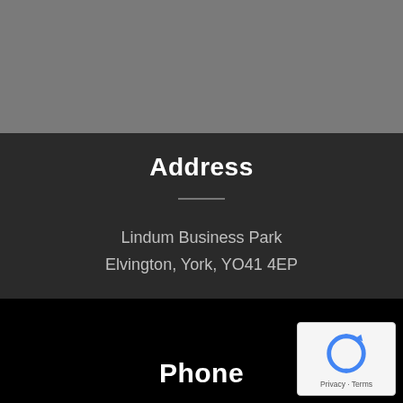[Figure (screenshot): Gray header section at top of page, partially visible]
Address
Lindum Business Park
Elvington, York, YO41 4EP
Phone
[Figure (logo): Google reCAPTCHA badge with Privacy and Terms links]